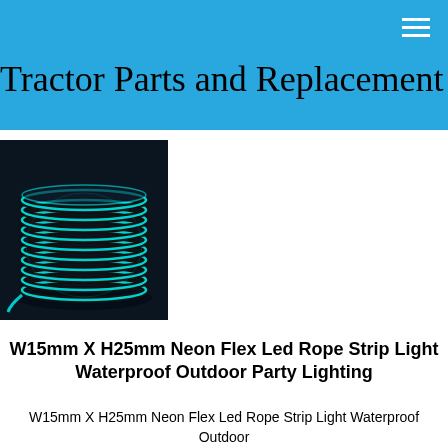Tractor Parts and Replacement
[Figure (photo): A coiled cyan/turquoise neon flex LED rope strip light on a dark background]
W15mm X H25mm Neon Flex Led Rope Strip Light Waterproof Outdoor Party Lighting
W15mm X H25mm Neon Flex Led Rope Strip Light Waterproof Outdoor Party Lighting